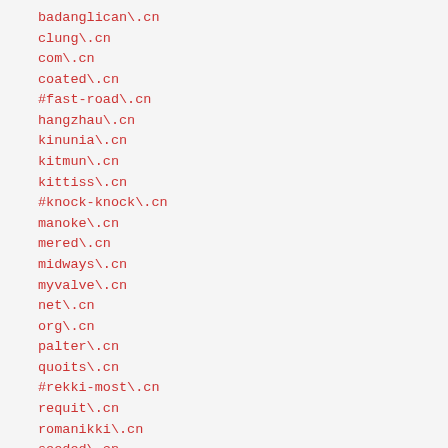badanglican\.cn
clung\.cn
com\.cn
coated\.cn
#fast-road\.cn
hangzhau\.cn
kinunia\.cn
kitmun\.cn
kittiss\.cn
#knock-knock\.cn
manoke\.cn
mered\.cn
midways\.cn
myvalve\.cn
net\.cn
org\.cn
palter\.cn
quoits\.cn
#rekki-most\.cn
requit\.cn
romanikki\.cn
seeded\.cn
snailtail\.cn
tanned\.cn
waked\.cn
wonted\.cn